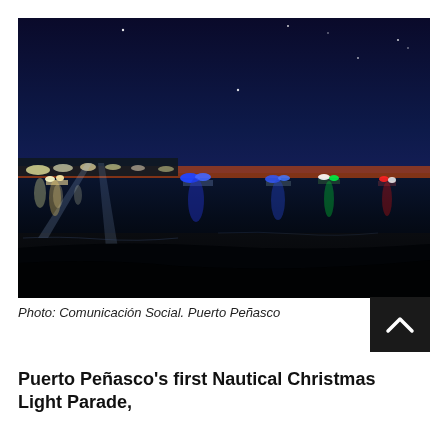[Figure (photo): Night scene of Puerto Peñasco nautical Christmas light parade. Multiple boats decorated with colorful lights (white, blue, green, red) are visible on dark water. The horizon shows a deep orange and red sunset glow fading into dark blue sky. The shore and pier lights are visible on the left side. Search lights beam upward on the left. Stars are faintly visible in the dark sky.]
Photo: Comunicación Social. Puerto Peñasco
Puerto Peñasco's first Nautical Christmas Light Parade,